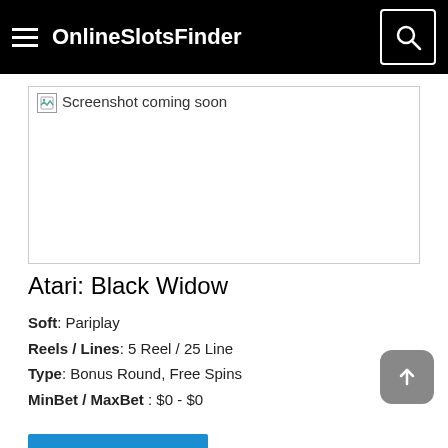OnlineSlotsFinder
[Figure (screenshot): Screenshot coming soon placeholder image with broken image icon]
Atari: Black Widow
Soft: Pariplay
Reels / Lines: 5 Reel / 25 Line
Type: Bonus Round, Free Spins
MinBet / MaxBet : $0 - $0